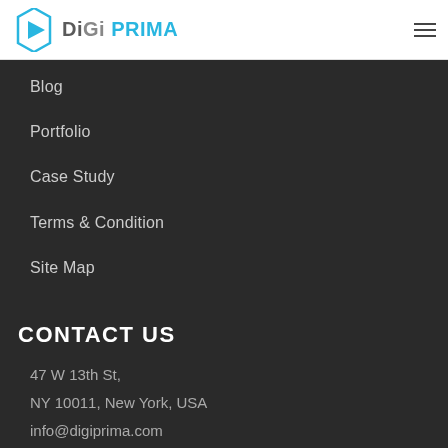DiGi PRIMA
Blog
Portfolio
Case Study
Terms & Condition
Site Map
CONTACT US
47 W 13th St,
NY 10011, New York, USA
info@digiprima.com